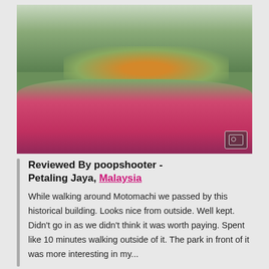[Figure (photo): Outdoor photo of a historical building in Motomachi area with pink azalea flowers in the foreground, orange flowering shrubs in the mid-ground, and colonial-style buildings with a green forested hill in the background. A photo icon overlay is visible in the bottom-right corner of the image.]
Reviewed By poopshooter - Petaling Jaya, Malaysia
While walking around Motomachi we passed by this historical building. Looks nice from outside. Well kept. Didn't go in as we didn't think it was worth paying. Spent like 10 minutes walking outside of it. The park in front of it was more interesting in my...